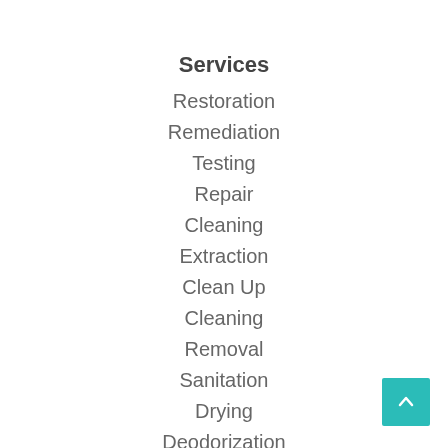Services
Restoration
Remediation
Testing
Repair
Cleaning
Extraction
Clean Up
Cleaning
Removal
Sanitation
Drying
Deodorization
Inspection